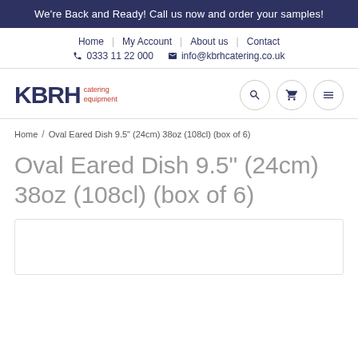We're Back and Ready! Call us now and order your samples!
Home | My Account | About us | Contact
0333 11 22 000   info@kbrhcatering.co.uk
[Figure (logo): KBRH Catering Equipment logo with search, cart, and menu icons]
Home / Oval Eared Dish 9.5" (24cm) 38oz (108cl) (box of 6)
Oval Eared Dish 9.5" (24cm) 38oz (108cl) (box of 6)